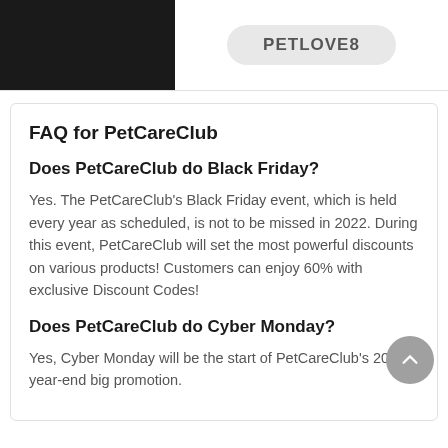[Figure (other): Dark/black rectangular image on the top left portion of the page]
PETLOVE8
FAQ for PetCareClub
Does PetCareClub do Black Friday?
Yes. The PetCareClub's Black Friday event, which is held every year as scheduled, is not to be missed in 2022. During this event, PetCareClub will set the most powerful discounts on various products! Customers can enjoy 60% with exclusive Discount Codes!
Does PetCareClub do Cyber Monday?
Yes, Cyber Monday will be the start of PetCareClub's 2022 year-end big promotion.